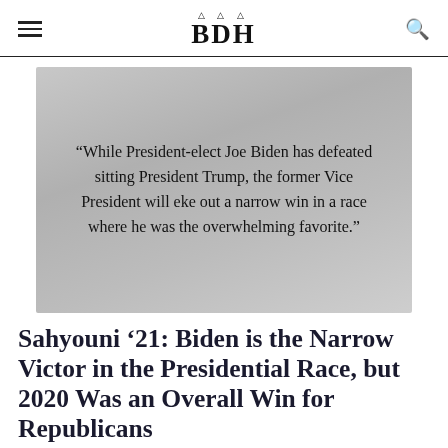BDH
[Figure (illustration): Pull quote on gray gradient background: “While President-elect Joe Biden has defeated sitting President Trump, the former Vice President will eke out a narrow win in a race where he was the overwhelming favorite.”]
Sahyouni ’21: Biden is the Narrow Victor in the Presidential Race, but 2020 Was an Overall Win for Republicans
By Donnie Sahyouni | November 9